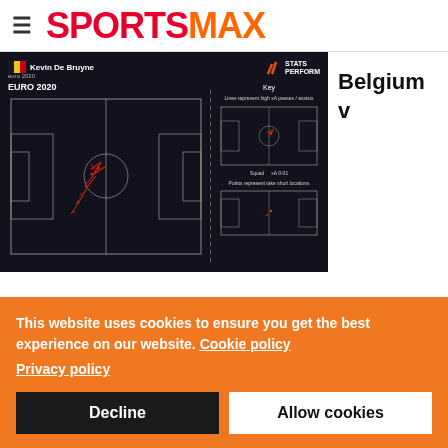SPORTSMAX
[Figure (screenshot): Kevin De Bruyne EURO 2020 stats heat map / touch map on a football pitch, shown in dark background with Stats Perform branding. Left side shows full pitch with player touches/passes, right side shows a key with legend.]
Belgium v
This website uses cookies to ensure you get the best experience on our website. Cookie policy
Privacy policy
Decline
Allow cookies